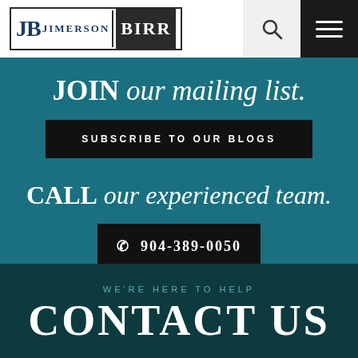[Figure (logo): Jimerson Birr law firm logo with JB initials in a bordered box]
JOIN our mailing list.
SUBSCRIBE TO OUR BLOGS
CALL our experienced team.
✆ 904-389-0050
WE'RE HERE TO HELP
CONTACT US